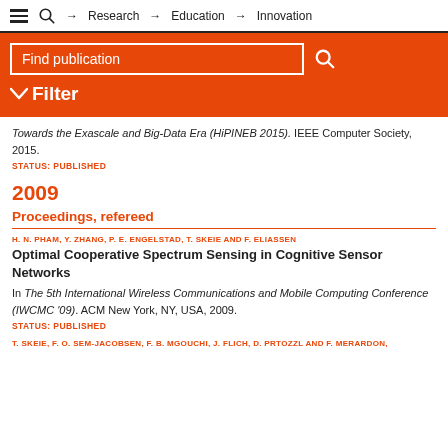Research | Education | Innovation
Find publication
Filter
Towards the Exascale and Big-Data Era (HiPINEB 2015). IEEE Computer Society, 2015.
STATUS: PUBLISHED
2009
Proceedings, refereed
H. N. PHAM, Y. ZHANG, P. E. ENGELSTAD, T. SKEIE AND F. ELIASSEN
Optimal Cooperative Spectrum Sensing in Cognitive Sensor Networks
In The 5th International Wireless Communications and Mobile Computing Conference (IWCMC '09). ACM New York, NY, USA, 2009.
STATUS: PUBLISHED
T. SKEIE, F. O. SEM-JACOBSEN, F. B. MGOUCHI, J. FLICH, D. PRTOZZL AND F. MERARDON,